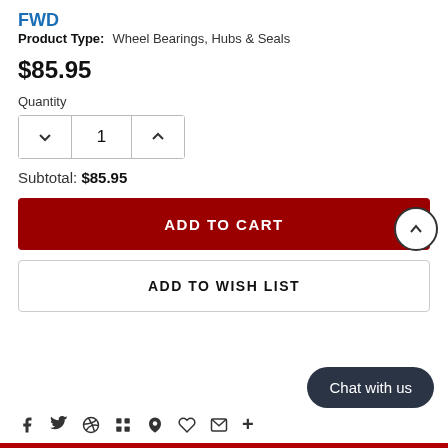FWD
Product Type: Wheel Bearings, Hubs & Seals
$85.95
Quantity
1
Subtotal: $85.95
ADD TO CART
ADD TO WISH LIST
Chat with us